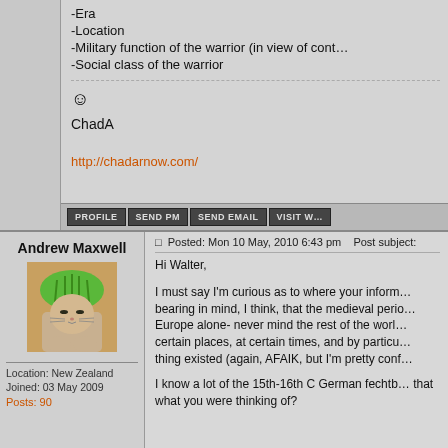-Era
-Location
-Military function of the warrior (in view of cont…
-Social class of the warrior
ChadA
http://chadarnow.com/
Andrew Maxwell
Location: New Zealand
Joined: 03 May 2009
Posts: 90
Posted: Mon 10 May, 2010 6:43 pm    Post subject:
Hi Walter,
I must say I'm curious as to where your inform… bearing in mind, I think, that the medieval perio… Europe alone- never mind the rest of the worl… certain places, at certain times, and by particu… thing existed (again, AFAIK, but I'm pretty conf…
I know a lot of the 15th-16th C German fechtb… that what you were thinking of?